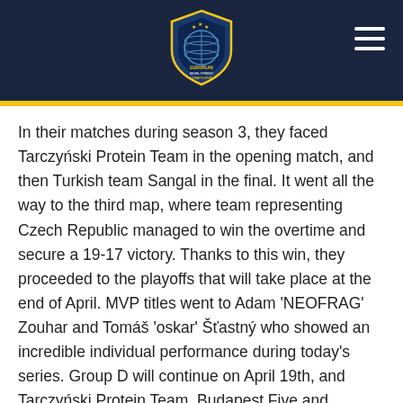[Figure (logo): European Development Championship logo — circular shield with blue and yellow elements, text 'EUROPEAN DEVELOPMENT CHAMPIONSHIP']
In their matches during season 3, they faced Tarczyński Protein Team in the opening match, and then Turkish team Sangal in the final. It went all the way to the third map, where team representing Czech Republic managed to win the overtime and secure a 19-17 victory. Thanks to this win, they proceeded to the playoffs that will take place at the end of April. MVP titles went to Adam 'NEOFRAG' Zouhar and Tomáš 'oskar' Šťastný who showed an incredible individual performance during today's series. Group D will continue on April 19th, and Tarczyński Protein Team, Budapest Five and Sangal will fight for another spot in the playoffs.